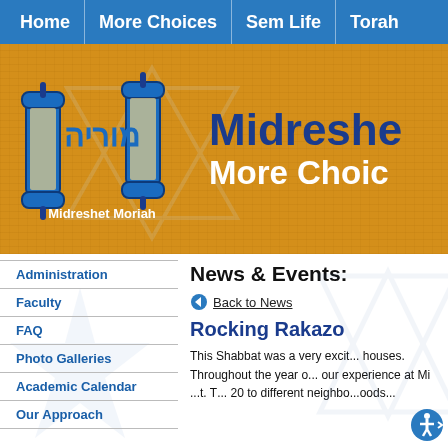Home | More Choices | Sem Life | Torah
[Figure (logo): Midreshet Moriah banner with Torah scrolls logo, Hebrew text, Star of David watermark on orange textured background. Text: 'Midreshet Moriah' and 'More Choices']
Administration
Faculty
FAQ
Photo Galleries
Academic Calendar
Our Approach
News & Events:
Back to News
Rocking Rakazo
This Shabbat was a very excit... houses. Throughout the year o... our experience at Mic...t. T... 20 to different neighbo...oods...